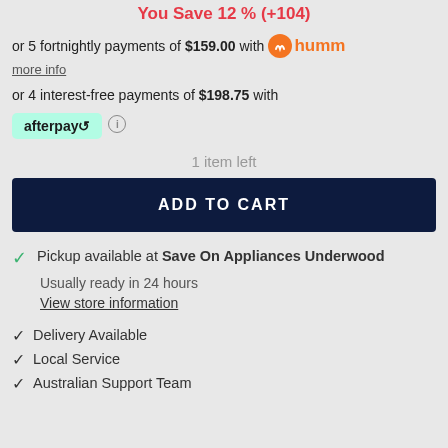You Save 12% (+104)
or 5 fortnightly payments of $159.00 with humm
more info
or 4 interest-free payments of $198.75 with afterpay
1 item left
ADD TO CART
Pickup available at Save On Appliances Underwood
Usually ready in 24 hours
View store information
Delivery Available
Local Service
Australian Support Team